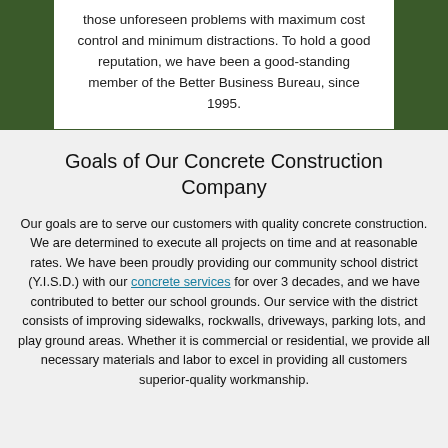those unforeseen problems with maximum cost control and minimum distractions. To hold a good reputation, we have been a good-standing member of the Better Business Bureau, since 1995.
Goals of Our Concrete Construction Company
Our goals are to serve our customers with quality concrete construction. We are determined to execute all projects on time and at reasonable rates. We have been proudly providing our community school district (Y.I.S.D.) with our concrete services for over 3 decades, and we have contributed to better our school grounds. Our service with the district consists of improving sidewalks, rockwalls, driveways, parking lots, and play ground areas. Whether it is commercial or residential, we provide all necessary materials and labor to excel in providing all customers superior-quality workmanship.